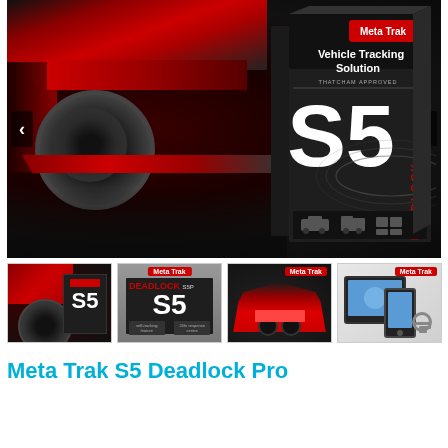[Figure (photo): Main product image showing a red sports car on left side and Meta Trak S5 Deadlock Pro vehicle tracking solution product box on right side, against dark background. Navigation arrows on left and right sides. Red label with 'Meta Trak' text on box top. Box shows 'Vehicle Tracking Solution', 'THATCHAM APPROVED', and large 'S5' with 'DEADLOCK' text.]
[Figure (photo): Thumbnail 1: Red sports car with Meta Trak S5 Deadlock product box]
[Figure (photo): Thumbnail 2: Meta Trak Deadlock S5 Pro packaging box with product details]
[Figure (photo): Thumbnail 3: Red Ferrari-style sports car front view with Meta Trak branding]
[Figure (photo): Thumbnail 4: Meta Trak app on tablet and smartphone showing map tracking interface with keys]
Meta Trak S5 Deadlock Pro